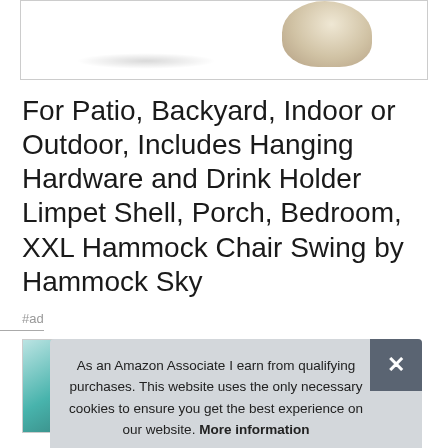[Figure (photo): Partial product image at top — decorative object with beige/cream texture visible at top right, with shadow blur at bottom left, inside a bordered frame]
For Patio, Backyard, Indoor or Outdoor, Includes Hanging Hardware and Drink Holder Limpet Shell, Porch, Bedroom, XXL Hammock Chair Swing by Hammock Sky
#ad
[Figure (photo): Partial thumbnail image of a teal/turquoise hammock chair product on left side]
As an Amazon Associate I earn from qualifying purchases. This website uses the only necessary cookies to ensure you get the best experience on our website. More information